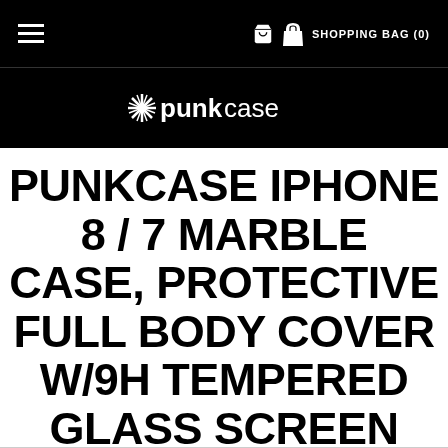SHOPPING BAG (0)
[Figure (logo): Punkcase logo with starburst/asterisk symbol before the word 'punkcase' in white on black background]
PUNKCASE IPHONE 8 / 7 MARBLE CASE, PROTECTIVE FULL BODY COVER W/9H TEMPERED GLASS SCREEN PROTECTOR